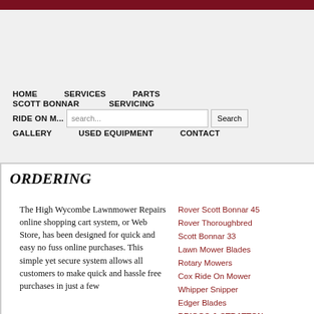HOME   SERVICES   PARTS
SCOTT BONNAR   SERVICING
RIDE ON MOWERS   [search]   POINT OF SERVICE
GALLERY   USED EQUIPMENT   CONTACT
ORDERING
The High Wycombe Lawnmower Repairs online shopping cart system, or Web Store, has been designed for quick and easy no fuss online purchases. This simple yet secure system allows all customers to make quick and hassle free purchases in just a few
Rover Scott Bonnar 45
Rover Thoroughbred
Scott Bonnar 33
Lawn Mower Blades
Rotary Mowers
Cox Ride On Mower
Whipper Snipper
Edger Blades
BRIGGS & STRATTON
HONDA
VICTA